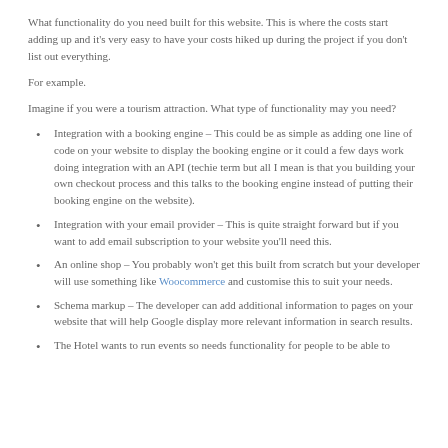What functionality do you need built for this website. This is where the costs start adding up and it's very easy to have your costs hiked up during the project if you don't list out everything.
For example.
Imagine if you were a tourism attraction. What type of functionality may you need?
Integration with a booking engine – This could be as simple as adding one line of code on your website to display the booking engine or it could a few days work doing integration with an API (techie term but all I mean is that you building your own checkout process and this talks to the booking engine instead of putting their booking engine on the website).
Integration with your email provider – This is quite straight forward but if you want to add email subscription to your website you'll need this.
An online shop – You probably won't get this built from scratch but your developer will use something like Woocommerce and customise this to suit your needs.
Schema markup – The developer can add additional information to pages on your website that will help Google display more relevant information in search results.
The Hotel wants to run events so needs functionality for people to be able to